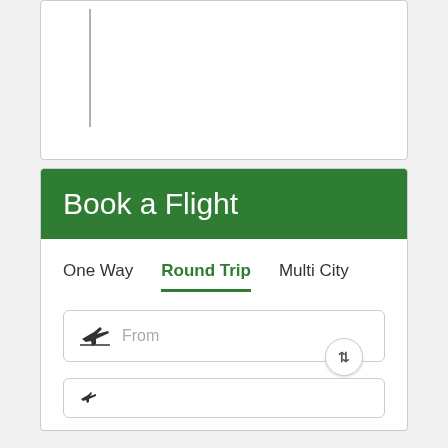[Figure (screenshot): Top portion of a card/panel partially visible at the top of the page, showing a white card with a vertical gray line on the left inner edge.]
Book a Flight
One Way   Round Trip   Multi City
[Figure (screenshot): A flight search form input field with a departure airplane icon and placeholder text 'From', with a swap button (up-down arrows) on the right side.]